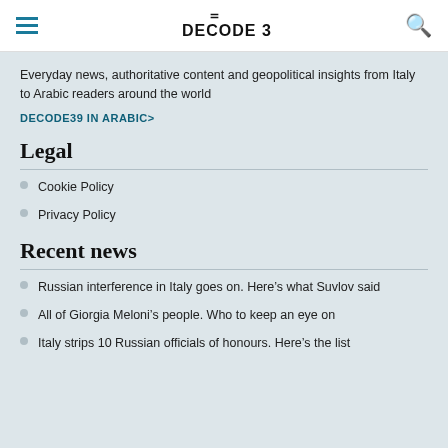decode 39
Everyday news, authoritative content and geopolitical insights from Italy to Arabic readers around the world
DECODE39 IN ARABIC>
Legal
Cookie Policy
Privacy Policy
Recent news
Russian interference in Italy goes on. Here's what Suvlov said
All of Giorgia Meloni's people. Who to keep an eye on
Italy strips 10 Russian officials of honours. Here's the list